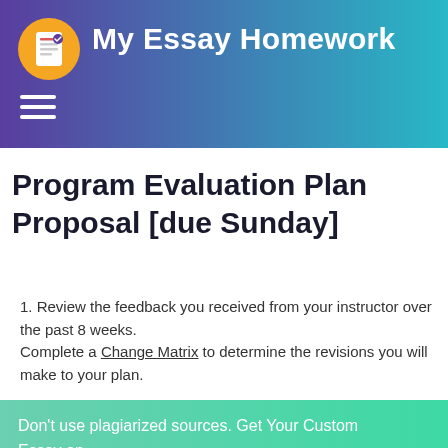My Essay Homework
Program Evaluation Plan Proposal [due Sunday]
1. Review the feedback you received from your instructor over the past 8 weeks.
Complete a Change Matrix to determine the revisions you will make to your plan.
Don't use plagiarized sources. Get Your Custom Essay on